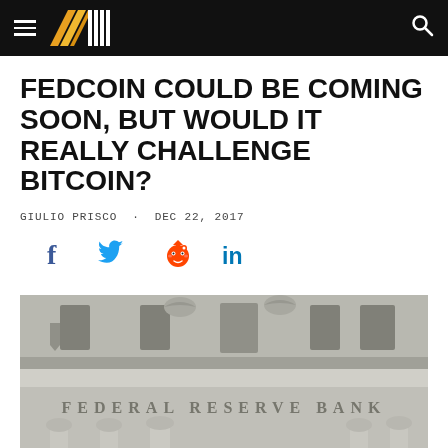Bitcoin Magazine
FEDCOIN COULD BE COMING SOON, BUT WOULD IT REALLY CHALLENGE BITCOIN?
GIULIO PRISCO · DEC 22, 2017
[Figure (infographic): Social sharing icons: Facebook, Twitter, Reddit, LinkedIn]
[Figure (photo): Photograph of the exterior facade of a Federal Reserve Bank building, showing ornate stone architecture with carved eagles and the words FEDERAL RESERVE BANK engraved in stone]